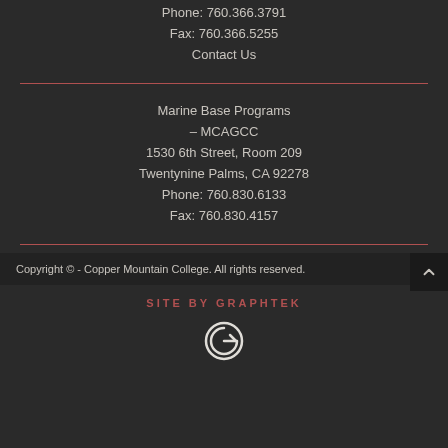Phone: 760.366.3791
Fax: 760.366.5255
Contact Us
Marine Base Programs – MCAGCC
1530 6th Street, Room 209
Twentynine Palms, CA 92278
Phone: 760.830.6133
Fax: 760.830.4157
Copyright © - Copper Mountain College. All rights reserved.
SITE BY GRAPHTEK
[Figure (logo): Graphtek circular G logo in white outline]